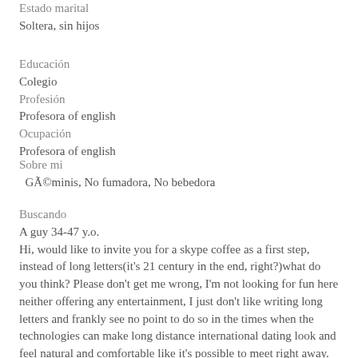Estado marital
Soltera, sin hijos
Educación
Colegio
Profesión
Profesora of english
Ocupación
Profesora of english
Sobre mi
  GÃ©minis, No fumadora, No bebedora
Buscando
A guy 34-47 y.o.
Hi, would like to invite you for a skype coffee as a first step, instead of long letters(it's 21 century in the end, right?)what do you think? Please don't get me wrong, I'm not looking for fun here neither offering any entertainment, I just don't like writing long letters and frankly see no point to do so in the times when the technologies can make long distance international dating look and feel natural and comfortable like it's possible to meet right away. Like we know what we are